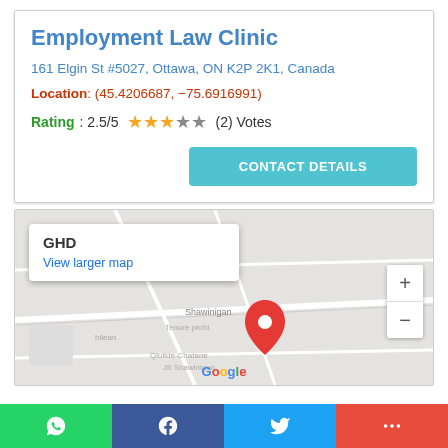Employment Law Clinic
161 Elgin St #5027, Ottawa, ON K2P 2K1, Canada
Location: (45.4206687, -75.6916991)
Rating: 2.5/5 ★★★☆☆ (2) Votes
CONTACT DETAILS
[Figure (map): Google map showing location near Shawinigan area with popup label GHD and View larger map link, zoom controls, and Google logo]
WhatsApp | Facebook | Twitter | More